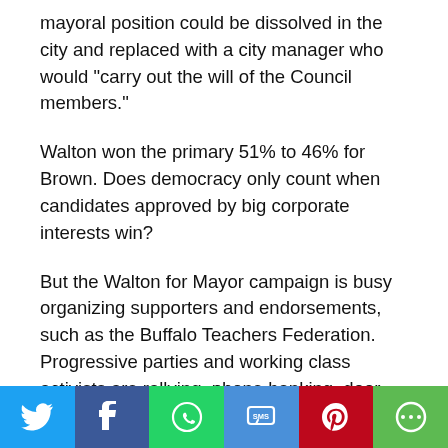mayoral position could be dissolved in the city and replaced with a city manager who would “carry out the will of the Council members.”
Walton won the primary 51% to 46% for Brown. Does democracy only count when candidates approved by big corporate interests win?
But the Walton for Mayor campaign is busy organizing supporters and endorsements, such as the Buffalo Teachers Federation. Progressive parties and working class activists are rallying, phone banking, door knocking across Buffalo and signing up volunteers.
The Cathy Rojas for Mayor campaign in New York City encourages every activist in western New York
[Figure (infographic): Social media sharing bar with icons for Twitter, Facebook, WhatsApp, SMS, Pinterest, and More (green circle icon)]